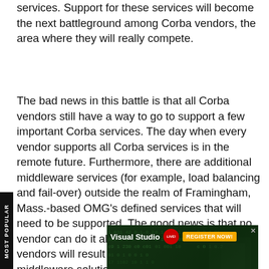services. Support for these services will become the next battleground among Corba vendors, the area where they will really compete.
The bad news in this battle is that all Corba vendors still have a way to go to support a few important Corba services. The day when every vendor supports all Corba services is in the remote future. Furthermore, there are additional middleware services (for example, load balancing and fail-over) outside the realm of Framingham, Mass.-based OMG's defined services that will need to be supported. The good news is that no vendor can do it all, and cooperation among vendors will result in a number of best-of-breed middleware solutions.
[Figure (other): Advertisement for Visual Studio LIVE! San Diego 2022 with a Register Now button on an orange background and a dark green tech-themed background.]